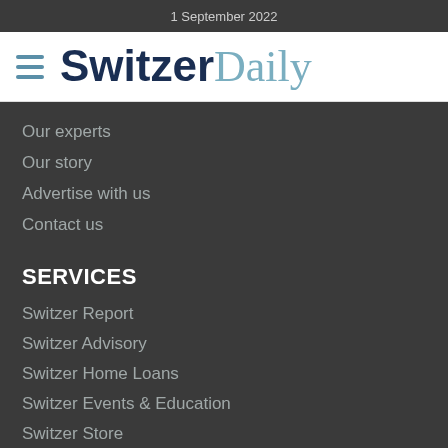1 September 2022
SwitzerDaily
Our experts
Our story
Advertise with us
Contact us
SERVICES
Switzer Report
Switzer Advisory
Switzer Home Loans
Switzer Events & Education
Switzer Store